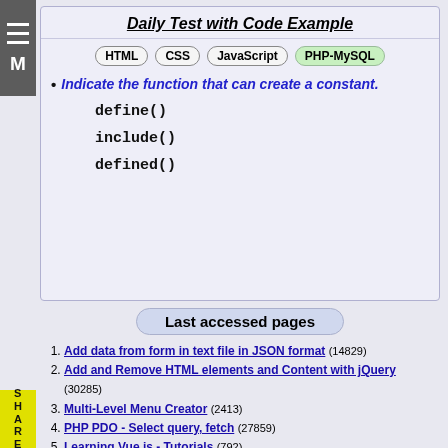Daily Test with Code Example
HTML  CSS  JavaScript  PHP-MySQL
Indicate the function that can create a constant.
define()
include()
defined()
Last accessed pages
Add data from form in text file in JSON format (14829)
Add and Remove HTML elements and Content with jQuery (30285)
Multi-Level Menu Creator (2413)
PHP PDO - Select query, fetch (27859)
Learning Vue.js - Tutorials (792)